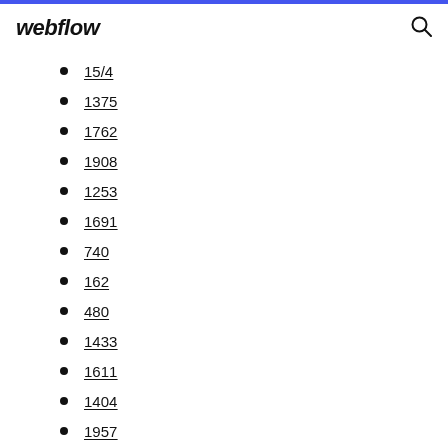webflow
15/4
1375
1762
1908
1253
1691
740
162
480
1433
1611
1404
1957